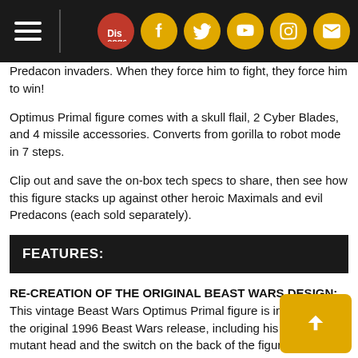Navigation bar with Discogs, Facebook, Twitter, YouTube, Instagram, and email icons
Predacon invaders. When they force him to fight, they force him to win!
Optimus Primal figure comes with a skull flail, 2 Cyber Blades, and 4 missile accessories. Converts from gorilla to robot mode in 7 steps.
Clip out and save the on-box tech specs to share, then see how this figure stacks up against other heroic Maximals and evil Predacons (each sold separately).
FEATURES:
RE-CREATION OF THE ORIGINAL BEAST WARS DESIGN: This vintage Beast Wars Optimus Primal figure is inspired by the original 1996 Beast Wars release, including his flip-down mutant head and the switch on the back of the figure that triggers chest-beating gorilla arm action!
CLASSIC CONVERSION: Optimus Primal figure features Beast Wars conversion from robot to gorilla mode in 7 steps
VINTAGE WEAPON ACCESSORIES: Optimus Primal figure comes with skull flail, 2 Cyber Blades, and 4 missile accessories. Flail accessory can be stored in right arm. Left arm opens to reveal double-barreled missile launcher.